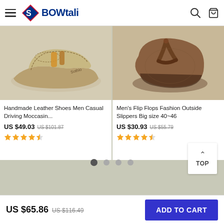BOWtali
[Figure (photo): Handmade leather casual driving moccasin shoe in tan/beige color with stitching detail]
Handmade Leather Shoes Men Casual Driving Moccasin...
US $49.03  US $101.87
[Figure (photo): Men's brown flip flop sandal/slipper shown from side angle]
Men's Flip Flops Fashion Outside Slippers Big size 40~46
US $30.93  US $55.79
US $65.86  US $116.49
ADD TO CART